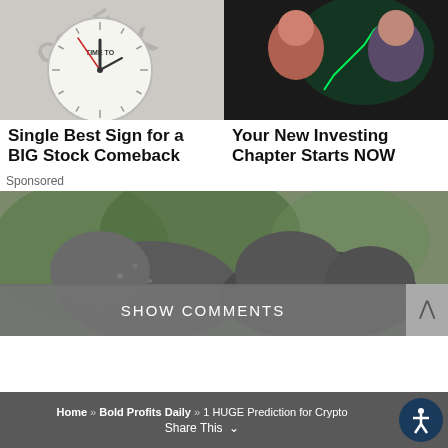[Figure (photo): Two promotional images side by side: left shows a clock with 'TIME TO' text and 'COMEBACK' text; right shows two people (man and woman) with green stock chart hologram.]
Single Best Sign for a BIG Stock Comeback
Your New Investing Chapter Starts NOW
Sponsored
[Figure (photo): Wildlife photo showing two large animals (tapirs or similar) among foliage.]
SHOW COMMENTS
Home » Bold Profits Daily » 1 HUGE Prediction for Crypto   Share This ∨